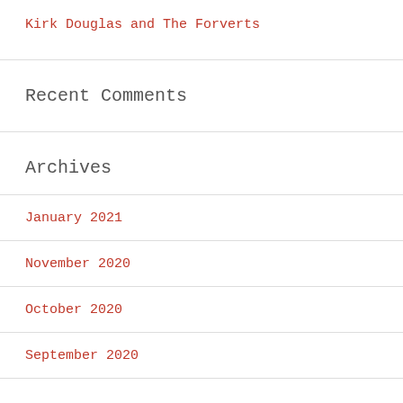Kirk Douglas and The Forverts
Recent Comments
Archives
January 2021
November 2020
October 2020
September 2020